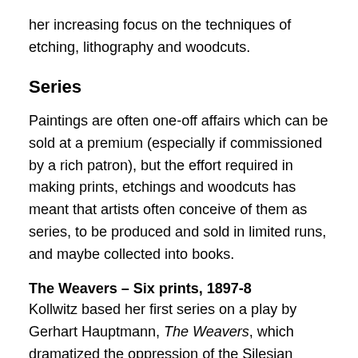her increasing focus on the techniques of etching, lithography and woodcuts.
Series
Paintings are often one-off affairs which can be sold at a premium (especially if commissioned by a rich patron), but the effort required in making prints, etchings and woodcuts has meant that artists often conceive of them as series, to be produced and sold in limited runs, and maybe collected into books.
The Weavers – Six prints, 1897-8
Kollwitz based her first series on a play by Gerhart Hauptmann, The Weavers, which dramatized the oppression of the Silesian weavers in Langenbielau and their failed revolt in 1844. She produced three lithographs